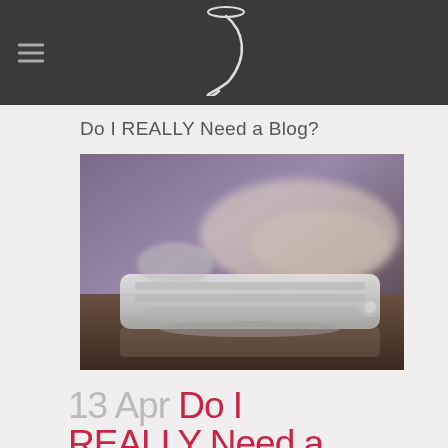≡  [logo]
Do I REALLY Need a Blog?
[Figure (photo): Close-up photograph of a person typing on a slim silver keyboard, with a blurred purple background]
13 Apr Do I REALLY Need a...